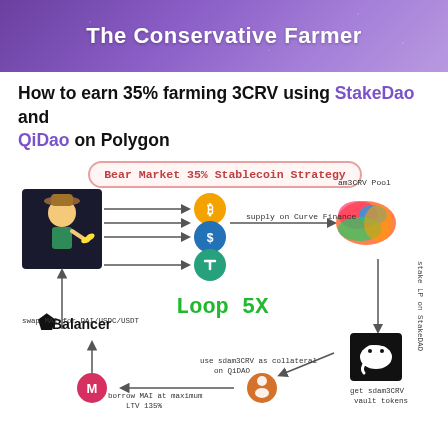The Conservative Farmer
How to earn 35% farming 3CRV using StakeDao and QiDao on Polygon
[Figure (infographic): Infographic showing the Bear Market 35% Stablecoin Strategy. A farmer character on the left supplies DAI/USDC/USDT to Curve Finance's am3CRV Pool. The LP tokens are staked on StakeDao to get sdam3CRV vault tokens. These are used as collateral on QiDao to borrow MAI at maximum LTV 135%. MAI is swapped for DAI/USDC/USDT via Balancer. The loop repeats 5X.]